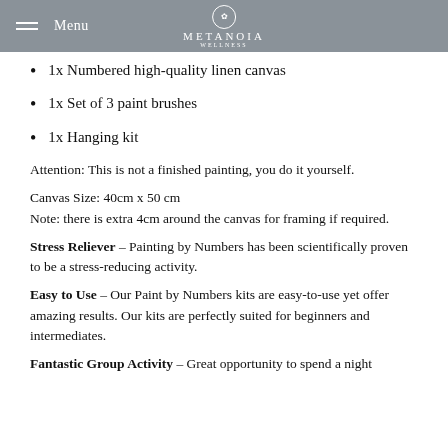Menu | METANOIA
1x Numbered high-quality linen canvas
1x Set of 3 paint brushes
1x Hanging kit
Attention: This is not a finished painting, you do it yourself.
Canvas Size: 40cm x 50 cm
Note: there is extra 4cm around the canvas for framing if required.
Stress Reliever – Painting by Numbers has been scientifically proven to be a stress-reducing activity.
Easy to Use – Our Paint by Numbers kits are easy-to-use yet offer amazing results. Our kits are perfectly suited for beginners and intermediates.
Fantastic Group Activity – Great opportunity to spend a night